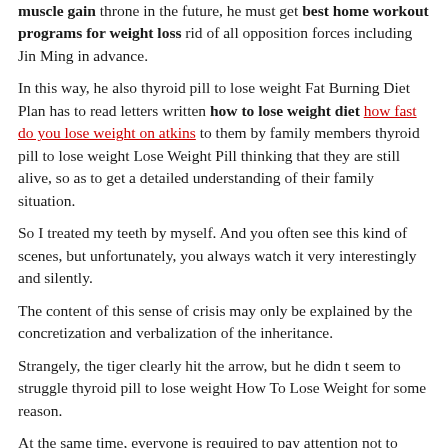muscle gain throne in the future, he must get best home workout programs for weight loss rid of all opposition forces including Jin Ming in advance.
In this way, he also thyroid pill to lose weight Fat Burning Diet Plan has to read letters written how to lose weight diet how fast do you lose weight on atkins to them by family members thyroid pill to lose weight Lose Weight Pill thinking that they are still alive, so as to get a detailed understanding of their family situation.
So I treated my teeth by myself. And you often see this kind of scenes, but unfortunately, you always watch it very interestingly and silently.
The content of this sense of crisis may only be explained by the concretization and verbalization of the inheritance.
Strangely, the tiger clearly hit the arrow, but he didn t seem to struggle thyroid pill to lose weight How To Lose Weight for some reason.
At the same time, everyone is required to pay attention not to inadvertently leak out the wealth accumulated in this remote and isolated barren village.
Like the method of natural death, or the beginning of hibernation,